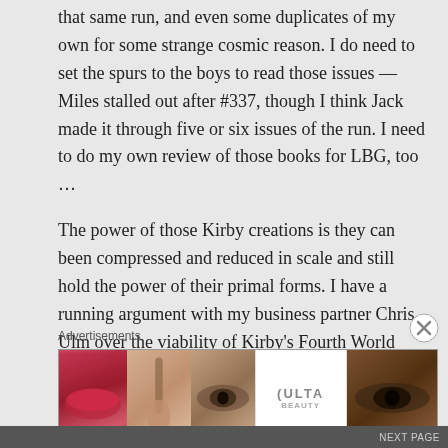that same run, and even some duplicates of my own for some strange cosmic reason. I do need to set the spurs to the boys to read those issues — Miles stalled out after #337, though I think Jack made it through five or six issues of the run. I need to do my own review of those books for LBG, too …
The power of those Kirby creations is they can been compressed and reduced in scale and still hold the power of their primal forms. I have a running argument with my business partner Chris Ulm over the viability of Kirby's Fourth World stuff as a
Advertisements
[Figure (other): Advertisement banner showing beauty/makeup images including lips, makeup brush, eye close-up, ULTA beauty logo, eye close-up, and SHOP NOW text]